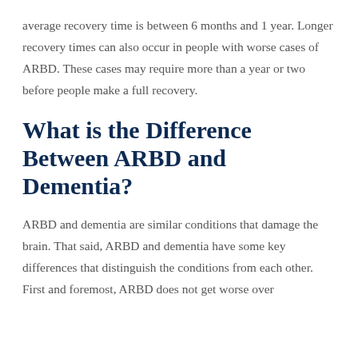average recovery time is between 6 months and 1 year. Longer recovery times can also occur in people with worse cases of ARBD. These cases may require more than a year or two before people make a full recovery.
What is the Difference Between ARBD and Dementia?
ARBD and dementia are similar conditions that damage the brain. That said, ARBD and dementia have some key differences that distinguish the conditions from each other. First and foremost, ARBD does not get worse over